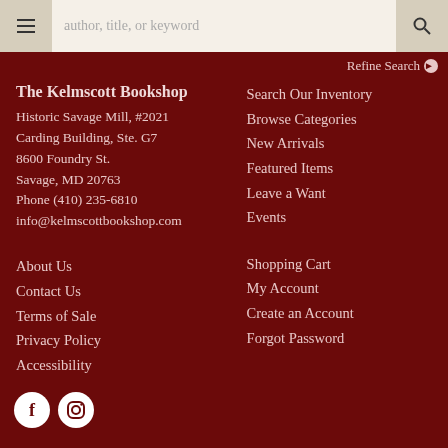author, title, or keyword [search bar with hamburger menu and search button]
Refine Search
The Kelmscott Bookshop
Historic Savage Mill, #2021
Carding Building, Ste. G7
8600 Foundry St.
Savage, MD 20763
Phone (410) 235-6810
info@kelmscottbookshop.com
Search Our Inventory
Browse Categories
New Arrivals
Featured Items
Leave a Want
Events
About Us
Contact Us
Terms of Sale
Privacy Policy
Accessibility
Shopping Cart
My Account
Create an Account
Forgot Password
[Figure (illustration): Facebook and Instagram social media icons in white circles on dark red background]